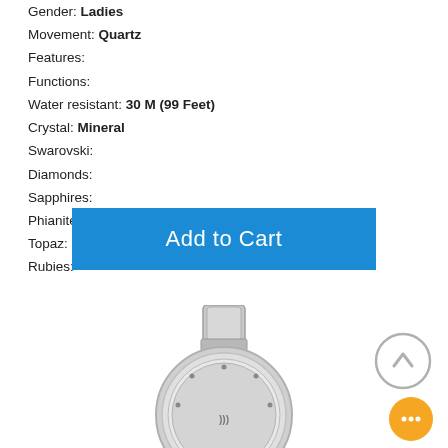Gender: Ladies
Movement: Quartz
Features:
Functions:
Water resistant: 30 M (99 Feet)
Crystal: Mineral
Swarovski:
Diamonds:
Sapphires:
Phianites:
Topaz:
Rubies:
[Figure (screenshot): Blue 'Add to Cart' button]
[Figure (photo): Top portion of a silver ladies watch with circular case and strap lug visible]